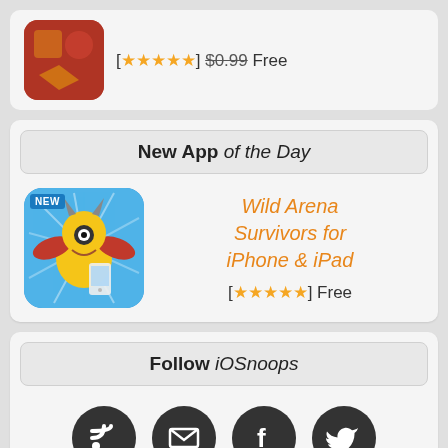[ ★★★★★ ] $0.99 Free
New App of the Day
[Figure (illustration): App icon for Wild Arena Survivors with NEW badge overlay, colorful character artwork on blue background]
Wild Arena Survivors for iPhone & iPad
[ ★★★★★ ] Free
Follow iOSnoops
[Figure (illustration): Four dark circular social media icons: RSS feed, Email/envelope, Facebook, Twitter]
▲ Back to Top ▲